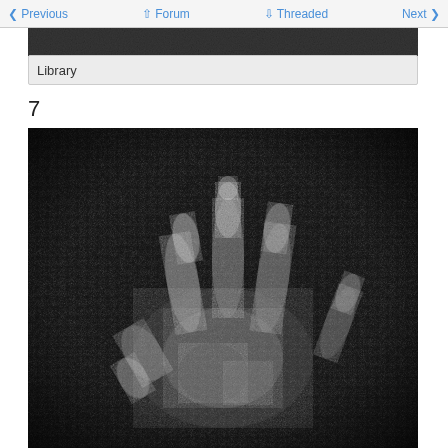Previous | Forum | Threaded | Next
Library
7
[Figure (photo): Black and white X-ray or photographic image of a human hand spread open, fingers extended, with bright white areas showing the finger and palm bones/tissue against a dark background. The image is grainy and high-contrast.]